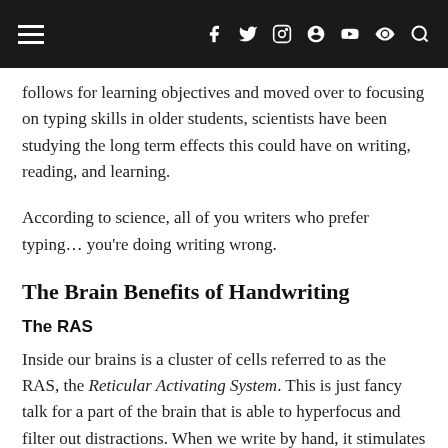≡  f  𝕥  ☯  ℗  𝐭  ▶  ♪  🔍
follows for learning objectives and moved over to focusing on typing skills in older students, scientists have been studying the long term effects this could have on writing, reading, and learning.
According to science, all of you writers who prefer typing… you're doing writing wrong.
The Brain Benefits of Handwriting
The RAS
Inside our brains is a cluster of cells referred to as the RAS, the Reticular Activating System. This is just fancy talk for a part of the brain that is able to hyperfocus and filter out distractions. When we write by hand, it stimulates the RAS,